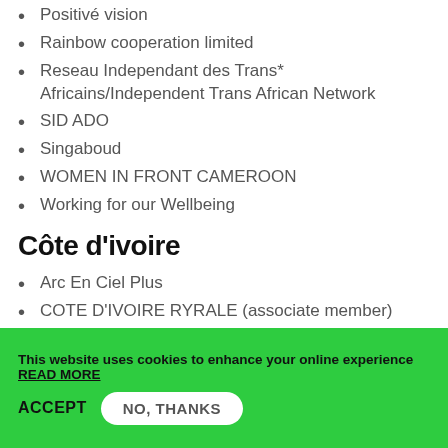Positivé vision
Rainbow cooperation limited
Reseau Independant des Trans* Africains/Independent Trans African Network
SID ADO
Singaboud
WOMEN IN FRONT CAMEROON
Working for our Wellbeing
Côte d'ivoire
Arc En Ciel Plus
COTE D'IVOIRE RYRALE (associate member)
House of Culture for Human Diversity
Lesbian Life Association Cote d'Ivoire – LACI
This website uses cookies to enhance your online experience READ MORE
ACCEPT   NO, THANKS